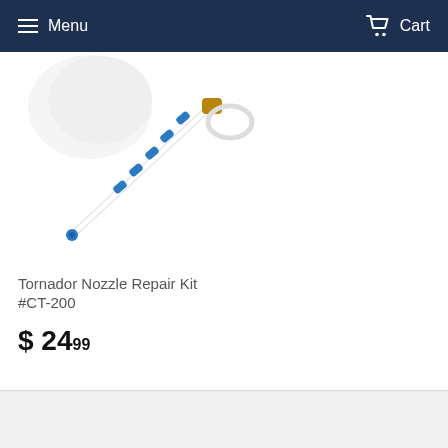Menu   Cart
[Figure (photo): Tornador Nozzle Repair Kit product photo showing a blue and white nozzle tube with connectors on a white background]
Tornador Nozzle Repair Kit
#CT-200
$ 24.99